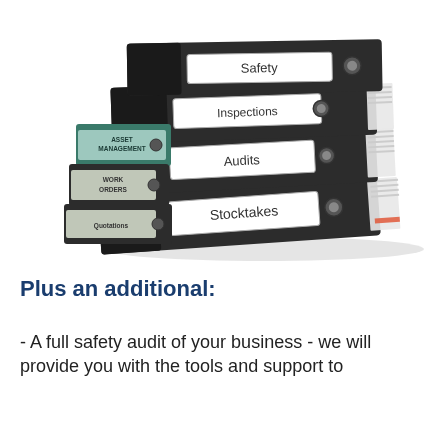[Figure (photo): A stack of black ring binders/folders labeled Safety, Inspections, Audits, Stocktakes, Asset Management, Work Orders, and Quotations, stuffed with papers.]
Plus an additional:
- A full safety audit of your business - we will provide you with the tools and support to